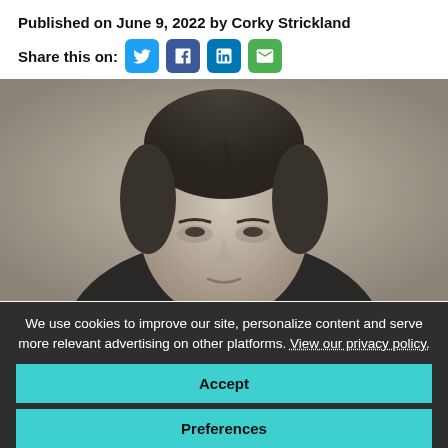Published on June 9, 2022 by Corky Strickland
Share this on: [Twitter] [Facebook] [LinkedIn] [Email]
[Figure (photo): Black and white portrait photograph of a man, showing his head and upper shoulders, with neatly combed dark hair and wearing a suit.]
We use cookies to improve our site, personalize content and serve more relevant advertising on other platforms. View our privacy policy.
Accept
Preferences